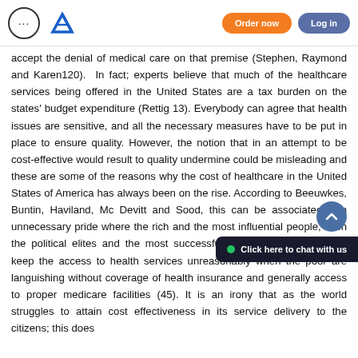... [logo] Order now | Log in
accept the denial of medical care on that premise (Stephen, Raymond and Karen120). In fact; experts believe that much of the healthcare services being offered in the United States are a tax burden on the states' budget expenditure (Rettig 13). Everybody can agree that health issues are sensitive, and all the necessary measures have to be put in place to ensure quality. However, the notion that in an attempt to be cost-effective would result to quality undermine could be misleading and these are some of the reasons why the cost of healthcare in the United States of America has always been on the rise. According to Beeuwkes, Buntin, Haviland, Mc Devitt and Sood, this can be associated with unnecessary pride where the rich and the most influential people, such the political elites and the most successful business people fight to keep the access to health services unreasonably when the poor are languishing without coverage of health insurance and generally access to proper medicare facilities (45). It is an irony that as the world struggles to attain cost effectiveness in its service delivery to the citizens; this does